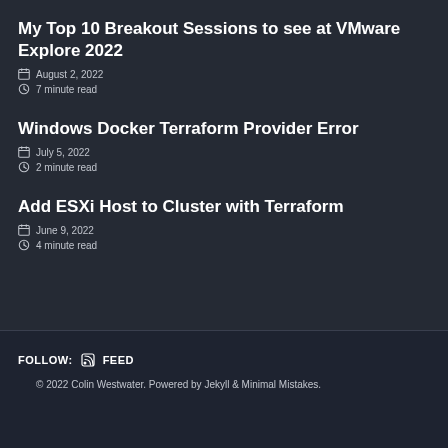My Top 10 Breakout Sessions to see at VMware Explore 2022
August 2, 2022
7 minute read
Windows Docker Terraform Provider Error
July 5, 2022
2 minute read
Add ESXi Host to Cluster with Terraform
June 9, 2022
4 minute read
FOLLOW:   FEED
© 2022 Colin Westwater. Powered by Jekyll & Minimal Mistakes.